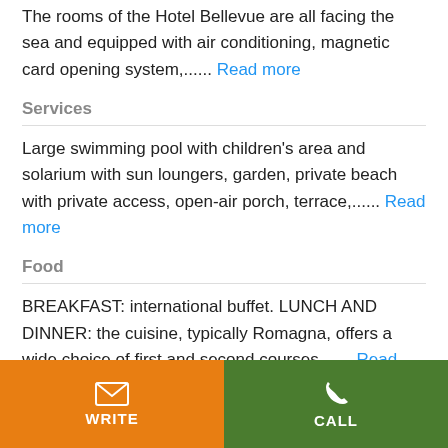The rooms of the Hotel Bellevue are all facing the sea and equipped with air conditioning, magnetic card opening system,...... Read more
Services
Large swimming pool with children's area and solarium with sun loungers, garden, private beach with private access, open-air porch, terrace,...... Read more
Food
BREAKFAST: international buffet. LUNCH AND DINNER: the cuisine, typically Romagna, offers a wide choice of first and second courses....... Read more
WRITE | CALL